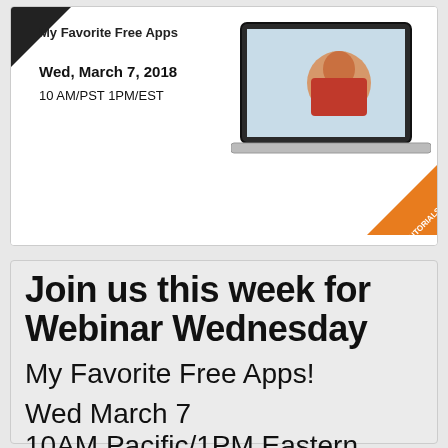[Figure (screenshot): Webinar promotional banner showing laptop with presenter, black triangle in top-left corner, text 'My Favorite Free Apps', date 'Wed, March 7, 2018', time '10 AM/PST 1PM/EST', and orange 'TUTORIALS' badge in bottom-right corner]
Join us this week for Webinar Wednesday
My Favorite Free Apps!
Wed March 7 10AM Pacific/1PM Eastern